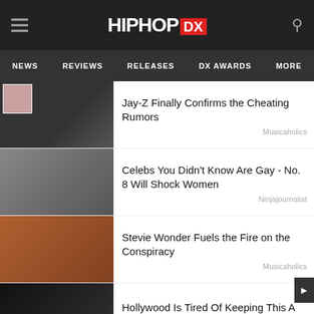HIPHOP DX
NEWS | REVIEWS | RELEASES | DX AWARDS | MORE
Jay-Z Finally Confirms the Cheating Rumors
Musicaholics
Celebs You Didn't Know Are Gay - No. 8 Will Shock Women
Ninjajournalist
Stevie Wonder Fuels the Fire on the Conspiracy
Musicaholics
Hollywood Is Tired Of Keeping This A Secret
MAGNUM LARGE SIZE CONDOMS — LEARN MORE